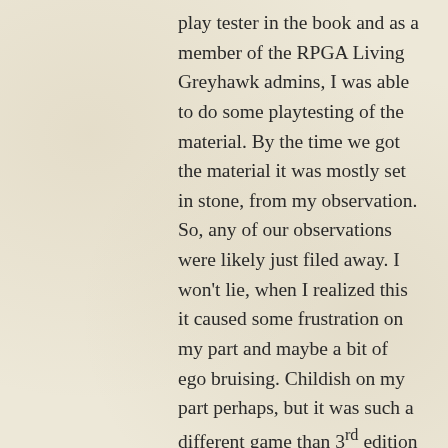play tester in the book and as a member of the RPGA Living Greyhawk admins, I was able to do some playtesting of the material. By the time we got the material it was mostly set in stone, from my observation. So, any of our observations were likely just filed away. I won't lie, when I realized this it caused some frustration on my part and maybe a bit of ego bruising. Childish on my part perhaps, but it was such a different game than 3rd edition that many of us, who wanted a 3.75, were miffed.
I have run and played 4th edition in the meantime and I found that there was enough D&D in it, whatever that means, and I have had a good time playing it. I have been tempted to try 13th Age and